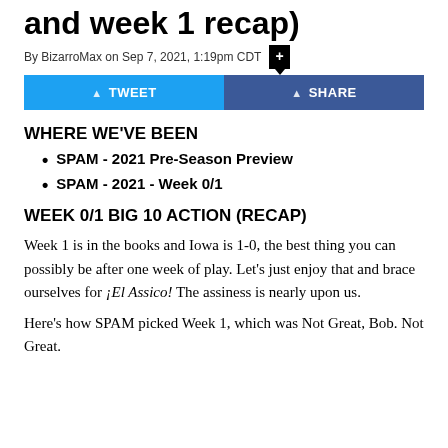and week 1 recap)
By BizarroMax on Sep 7, 2021, 1:19pm CDT
WHERE WE'VE BEEN
SPAM - 2021 Pre-Season Preview
SPAM - 2021 - Week 0/1
WEEK 0/1 BIG 10 ACTION (RECAP)
Week 1 is in the books and Iowa is 1-0, the best thing you can possibly be after one week of play. Let's just enjoy that and brace ourselves for ¡El Assico! The assiness is nearly upon us.
Here's how SPAM picked Week 1, which was Not Great, Bob. Not Great.